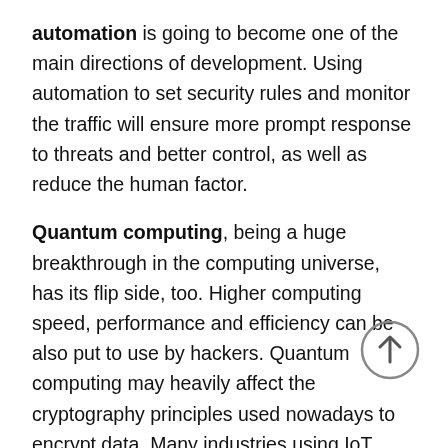automation is going to become one of the main directions of development. Using automation to set security rules and monitor the traffic will ensure more prompt response to threats and better control, as well as reduce the human factor.
Quantum computing, being a huge breakthrough in the computing universe, has its flip side, too. Higher computing speed, performance and efficiency can be also put to use by hackers. Quantum computing may heavily affect the cryptography principles used nowadays to encrypt data. Many industries using IoT technologies in their flows will have to deal with possible consequences of quantum computing-related threats. The good news is that quantum computers are still at the prototyping stage, however, IoT manufacturers should secure their devices against future threats, too.